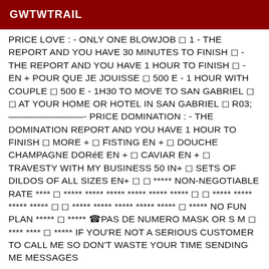GWTWTRAIL
PRICE LOVE : - ONLY ONE BLOWJOB ◻ 1 - THE REPORT AND YOU HAVE 30 MINUTES TO FINISH ◻ - THE REPORT AND YOU HAVE 1 HOUR TO FINISH ◻ - EN + POUR QUE JE JOUISSE ◻ 500 E - 1 HOUR WITH COUPLE ◻ 500 E - 1H30 TO MOVE TO SAN GABRIEL ◻ ◻ AT YOUR HOME OR HOTEL IN SAN GABRIEL ◻ R03; ————————- PRICE DOMINATION : - THE DOMINATION REPORT AND YOU HAVE 1 HOUR TO FINISH ◻ MORE + ◻ FISTING EN + ◻ DOUCHE CHAMPAGNE DORéE EN + ◻ CAVIAR EN + ◻ TRAVESTY WITH MY BUSINESS 50 IN+ ◻ SETS OF DILDOS OF ALL SIZES EN+ ◻ ◻ ***** NON-NEGOTIABLE RATE **** ◻ ***** ***** ***** ***** ***** ***** ◻ ◻ ***** ***** ***** ***** ◻ ◻ ***** ***** ***** ***** ***** ◻ ***** NO FUN PLAN ***** ◻ ***** ☎PAS DE NUMERO MASK OR S M ◻ **** **** ◻ ***** IF YOU'RE NOT A SERIOUS CUSTOMER TO CALL ME SO DON'T WASTE YOUR TIME SENDING ME MESSAGES